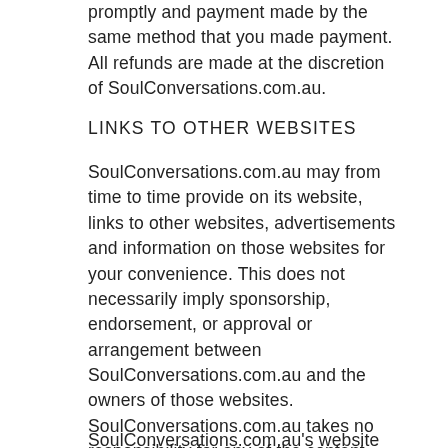promptly and payment made by the same method that you made payment. All refunds are made at the discretion of SoulConversations.com.au.
LINKS TO OTHER WEBSITES
SoulConversations.com.au may from time to time provide on its website, links to other websites, advertisements and information on those websites for your convenience. This does not necessarily imply sponsorship, endorsement, or approval or arrangement between SoulConversations.com.au and the owners of those websites. SoulConversations.com.au takes no responsibility for any of the content found on the linked websites.
SoulConversations.com.au's website